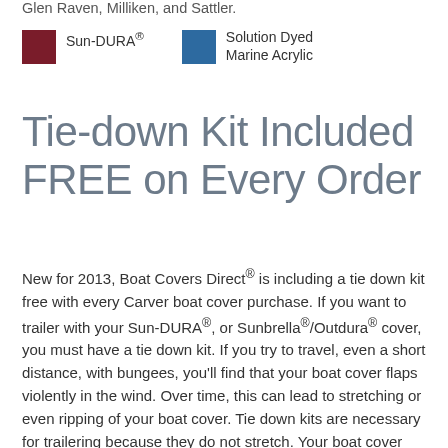Glen Raven, Milliken, and Sattler.
Sun-DURA®    Solution Dyed Marine Acrylic
Tie-down Kit Included FREE on Every Order
New for 2013, Boat Covers Direct® is including a tie down kit free with every Carver boat cover purchase. If you want to trailer with your Sun-DURA®, or Sunbrella®/Outdura® cover, you must have a tie down kit. If you try to travel, even a short distance, with bungees, you'll find that your boat cover flaps violently in the wind. Over time, this can lead to stretching or even ripping of your boat cover. Tie down kits are necessary for trailering because they do not stretch. Your boat cover order will include a kit of 12 polypropylene straps with buckles, kind of like the ones that you see on a life jacket. Even if you don't trailer your boat, it's much easier to snap a strap to tie a cover down than to have to tie and retie rope every